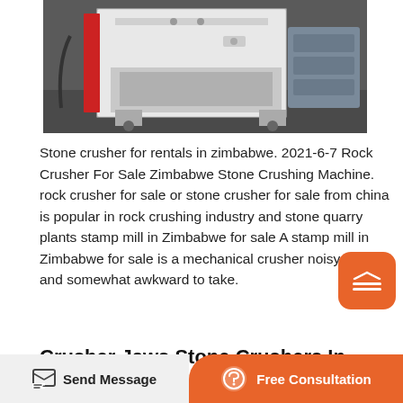[Figure (photo): A large white industrial stone crusher machine photographed in a warehouse/factory setting. The machine is boxy and white with visible mechanical parts. There are blue barrels or materials visible in the background on the right.]
Stone crusher for rentals in zimbabwe. 2021-6-7 Rock Crusher For Sale Zimbabwe Stone Crushing Machine. rock crusher for sale or stone crusher for sale from china is popular in rock crushing industry and stone quarry plants stamp mill in Zimbabwe for sale A stamp mill in Zimbabwe for sale is a mechanical crusher noisy heavy and somewhat awkward to take.
Crusher Jaws Stone Crushers In